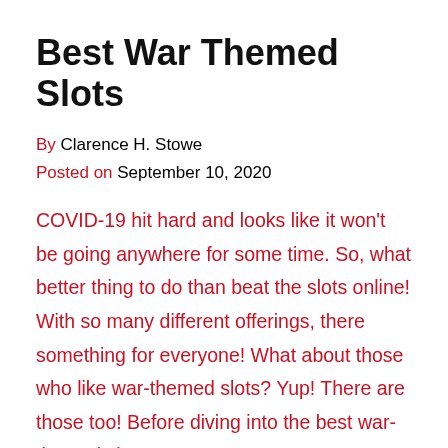Best War Themed Slots
By Clarence H. Stowe
Posted on September 10, 2020
COVID-19 hit hard and looks like it won't be going anywhere for some time. So, what better thing to do than beat the slots online! With so many different offerings, there something for everyone! What about those who like war-themed slots? Yup! There are those too! Before diving into the best war-themed slots, you can